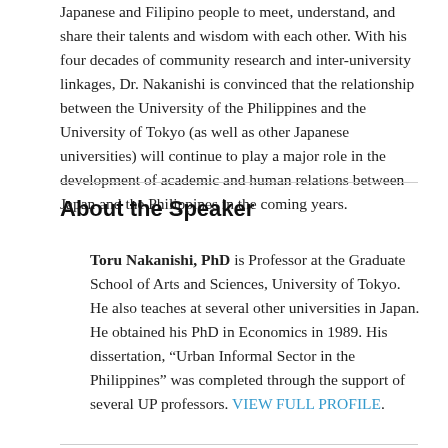Japanese and Filipino people to meet, understand, and share their talents and wisdom with each other. With his four decades of community research and inter-university linkages, Dr. Nakanishi is convinced that the relationship between the University of the Philippines and the University of Tokyo (as well as other Japanese universities) will continue to play a major role in the development of academic and human relations between Japan and the Philippines in the coming years.
About the Speaker
Toru Nakanishi, PhD is Professor at the Graduate School of Arts and Sciences, University of Tokyo. He also teaches at several other universities in Japan. He obtained his PhD in Economics in 1989. His dissertation, “Urban Informal Sector in the Philippines” was completed through the support of several UP professors. VIEW FULL PROFILE.